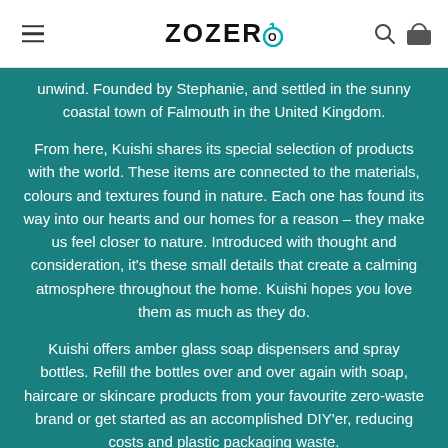ZOZERO
unwind. Founded by Stephanie, and settled in the sunny coastal town of Falmouth in the United Kingdom.
From here, Kuishi shares its special selection of products with the world. These items are connected to the materials, colours and textures found in nature. Each one has found its way into our hearts and our homes for a reason – they make us feel closer to nature. Introduced with thought and consideration, it's these small details that create a calming atmosphere throughout the home. Kuishi hopes you love them as much as they do.
Kuishi offers amber glass soap dispensers and spray bottles. Refill the bottles over and over again with soap, haircare or skincare products from your favourite zero-waste brand or get started as an accomplished DIY'er, reducing costs and plastic packaging waste.